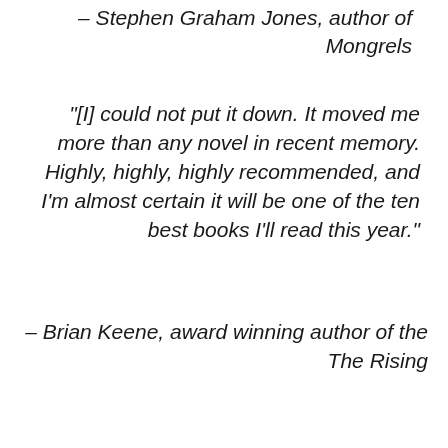– Stephen Graham Jones, author of Mongrels
“[I] could not put it down. It moved me more than any novel in recent memory. Highly, highly, highly recommended, and I’m almost certain it will be one of the ten best books I’ll read this year.”
– Brian Keene, award winning author of the The Rising